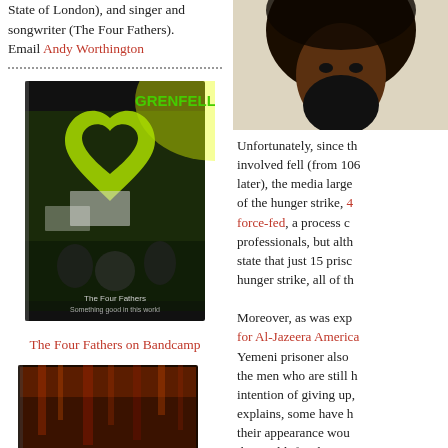State of London), and singer and songwriter (The Four Fathers). Email Andy Worthington
[Figure (photo): Book cover showing Grenfell protest with crowd and green heart logo, titled 'The Four Fathers Something good in this world']
The Four Fathers on Bandcamp
[Figure (photo): Second book cover with dark red/brown tones]
Unfortunately, since the number involved fell (from 106 to 30 days later), the media largely lost track of the hunger strike, 4 were being force-fed, a process condemned by professionals, but although the state that just 15 prisoners on hunger strike, all of th...
Moreover, as was exp... for Al-Jazeera America... Yemeni prisoner also ... the men who are still h... intention of giving up, ... explains, some have h... their appearance wou... the world if a photogra... states, "one of my fell...